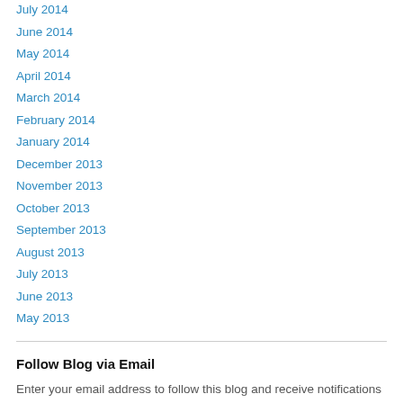July 2014
June 2014
May 2014
April 2014
March 2014
February 2014
January 2014
December 2013
November 2013
October 2013
September 2013
August 2013
July 2013
June 2013
May 2013
Follow Blog via Email
Enter your email address to follow this blog and receive notifications of